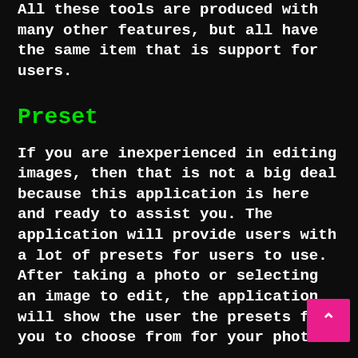All these tools are produced with many other features, but all have the same item that is support for users.
Preset
If you are inexperienced in editing images, then that is not a big deal because this application is here and ready to assist you. The application will provide users with a lot of presets for users to use. After taking a photo or selecting an image to edit, the application will show the user the presets for you to choose from for your photo.
The application will analyze the user's photos to make the most reasonable edits. So users can be completely assured of what the application can. But if the user is not satisfied with what the